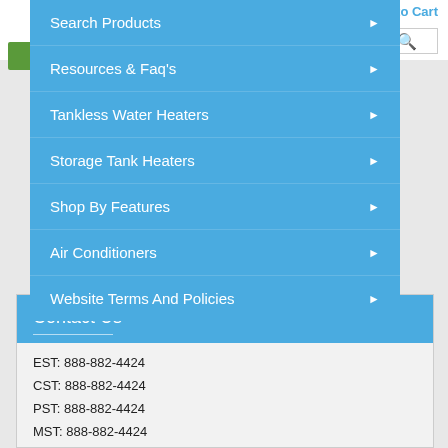Search Products
Resources & Faq's
Tankless Water Heaters
Storage Tank Heaters
Shop By Features
Air Conditioners
Website Terms And Policies
Contact Us
EST: 888-882-4424
CST: 888-882-4424
PST: 888-882-4424
MST: 888-882-4424